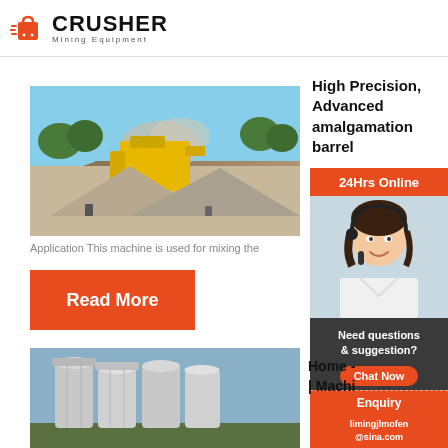CRUSHER Mining Equipment
[Figure (photo): Outdoor mining/crushing site with yellow crusher equipment, dust cloud, gravel piles, and trees in background]
High Precision, Advanced amalgamation barrel ...
[Figure (photo): 24Hrs Online customer service representative woman with headset smiling]
Application This machine is used for mixing the
Read More
Need questions & suggestion?
Chat Now
Enquiry
limingjlmofen@sina.com
[Figure (photo): Large silver/grey industrial silos or storage tanks outdoors]
Home - | Machi